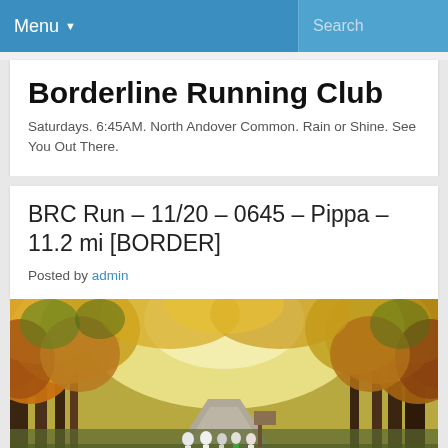Menu ▾   Search
Borderline Running Club
Saturdays. 6:45AM. North Andover Common. Rain or Shine. See You Out There.
BRC Run – 11/20 – 0645 – Pippa – 11.2 mi [BORDER]
Posted by admin
[Figure (photo): Autumn forest path with runners under yellow and orange foliage canopy]